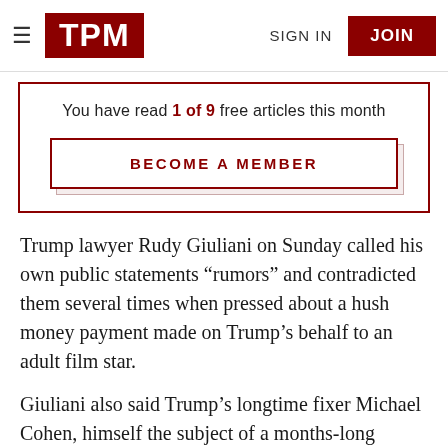TPM | SIGN IN | JOIN
You have read 1 of 9 free articles this month
BECOME A MEMBER
Trump lawyer Rudy Giuliani on Sunday called his own public statements “rumors” and contradicted them several times when pressed about a hush money payment made on Trump’s behalf to an adult film star.
Giuliani also said Trump’s longtime fixer Michael Cohen, himself the subject of a months-long